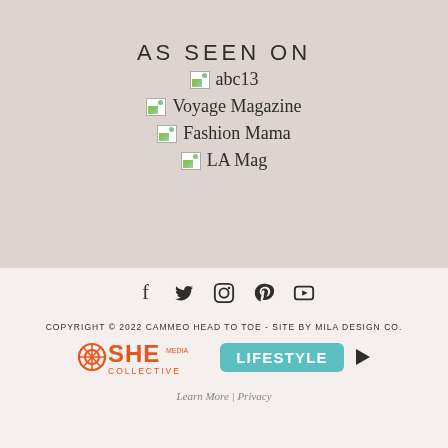AS SEEN ON
abc13
Voyage Magazine
Fashion Mama
LA Mag
[Figure (infographic): Social media icons: Facebook, Twitter, Instagram, Pinterest, YouTube]
COPYRIGHT © 2022 CAMMEO HEAD TO TOE - SITE BY MILA DESIGN CO.
[Figure (logo): SHE Media Collective Lifestyle badge with play button]
Learn More | Privacy